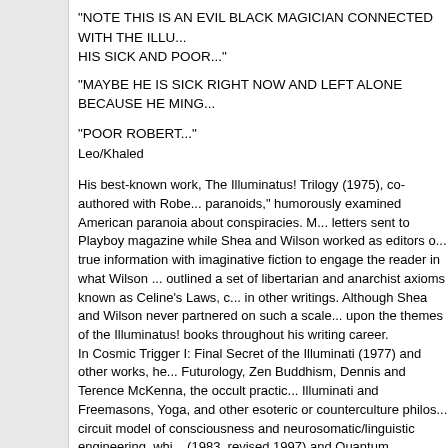"NOTE THIS IS AN EVIL BLACK MAGICIAN CONNECTED WITH THE ILLU... HIS SICK AND POOR..."
"MAYBE HE IS SICK RIGHT NOW AND LEFT ALONE BECAUSE HE MING...
"POOR ROBERT..."
Leo/Khaled
His best-known work, The Illuminatus! Trilogy (1975), co-authored with Robe... paranoids," humorously examined American paranoia about conspiracies. M... letters sent to Playboy magazine while Shea and Wilson worked as editors o... true information with imaginative fiction to engage the reader in what Wilson ... outlined a set of libertarian and anarchist axioms known as Celine's Laws, c... in other writings. Although Shea and Wilson never partnered on such a scale... upon the themes of the Illuminatus! books throughout his writing career. In Cosmic Trigger I: Final Secret of the Illuminati (1977) and other works, he... Futurology, Zen Buddhism, Dennis and Terence McKenna, the occult practic... Illuminati and Freemasons, Yoga, and other esoteric or counterculture philos... circuit model of consciousness and neurosomatic/linguistic engineering, whi... (1983, revised 1997) and Quantum Psychology (1990), books containing pra... "reality tunnels".[citation needed] With Leary, he helped promote the futurist... increase, and life extension (SMI2LE). Wilson also supports many of the utopian theories of Buckminster Fuller, as... McLuhan and Neuro Linguistic Programming co-founder Richard Bandler, w... admires James Joyce, and has written commentary on Finnegans Wake and... Ironically, considering Wilson has long lampooned and criticized new age be... bookstores specializing in new age material. He has claimed to have perceiv... when asked whether these entities were "real," he answered they were "real... since they were "easier to get rid of." He warned against beginners using oc... practices and the resulting "energies" they unleash can lead people to go "q... beginners start with NLP, Zen Buddhism, basic meditation, etc., before progr... activities.[citation needed]